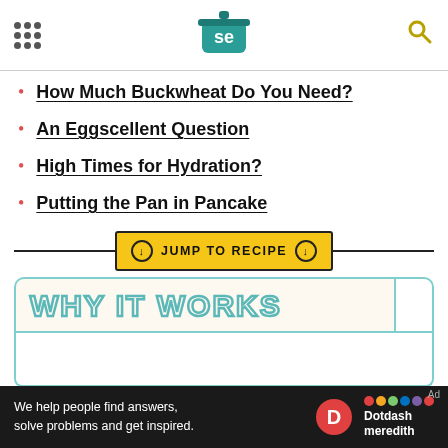[Figure (logo): Serious Eats logo — teal cooking pot with 'se' text]
How Much Buckwheat Do You Need?
An Eggscellent Question
High Times for Hydration?
Putting the Pan in Pancake
JUMP TO RECIPE
WHY IT WORKS
We help people find answers, solve problems and get inspired.